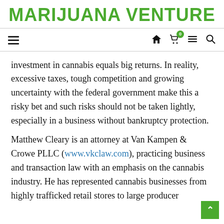MARIJUANA VENTURE
investment in cannabis equals big returns. In reality, excessive taxes, tough competition and growing uncertainty with the federal government make this a risky bet and such risks should not be taken lightly, especially in a business without bankruptcy protection.
Matthew Cleary is an attorney at Van Kampen & Crowe PLLC (www.vkclaw.com), practicing business and transaction law with an emphasis on the cannabis industry. He has represented cannabis businesses from highly trafficked retail stores to large producer